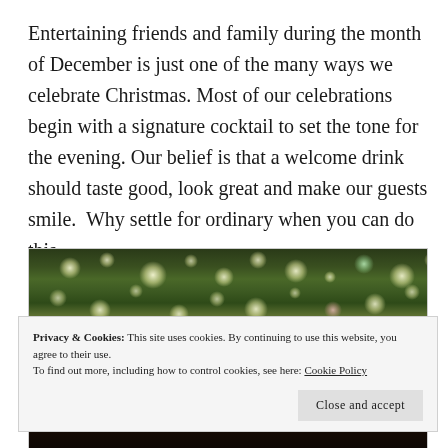Entertaining friends and family during the month of December is just one of the many ways we celebrate Christmas. Most of our celebrations begin with a signature cocktail to set the tone for the evening. Our belief is that a welcome drink should taste good, look great and make our guests smile.  Why settle for ordinary when you can do this...
[Figure (photo): A decorated Christmas tree with bokeh lights at the top, and darker scene at the bottom, partially obscured by a cookie consent banner.]
Privacy & Cookies: This site uses cookies. By continuing to use this website, you agree to their use.
To find out more, including how to control cookies, see here: Cookie Policy

Close and accept